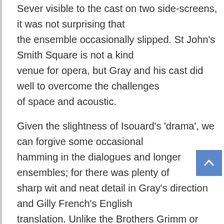Sever visible to the cast on two side-screens, it was not surprising that the ensemble occasionally slipped. St John's Smith Square is not a kind venue for opera, but Gray and his cast did well to overcome the challenges of space and acoustic.
Given the slightness of Isouard's 'drama', we can forgive some occasional hamming in the dialogues and longer ensembles; for there was plenty of sharp wit and neat detail in Gray's direction and Gilly French's English translation. Unlike the Brothers Grimm or Charles Perrault, Isouard offers us no dark terrors, political inferences or journeys into the psyche.
Simp...